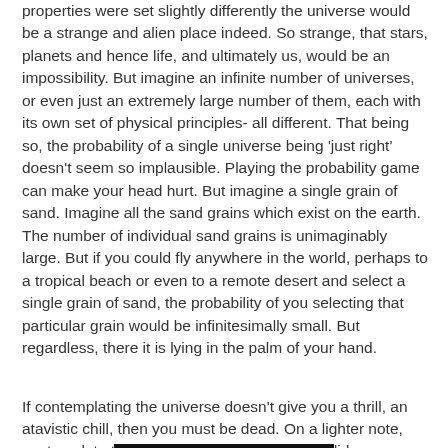properties were set slightly differently the universe would be a strange and alien place indeed. So strange, that stars, planets and hence life, and ultimately us, would be an impossibility. But imagine an infinite number of universes, or even just an extremely large number of them, each with its own set of physical principles- all different. That being so, the probability of a single universe being 'just right' doesn't seem so implausible. Playing the probability game can make your head hurt. But imagine a single grain of sand. Imagine all the sand grains which exist on the earth. The number of individual sand grains is unimaginably large. But if you could fly anywhere in the world, perhaps to a tropical beach or even to a remote desert and select a single grain of sand, the probability of you selecting that particular grain would be infinitesimally small. But regardless, there it is lying in the palm of your hand.
If contemplating the universe doesn't give you a thrill, an atavistic chill, then you must be dead. On a lighter note, contemplate this video. It made I laugh, so it did.